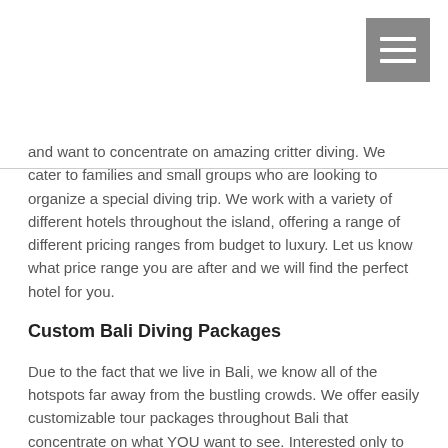[Figure (other): Hamburger menu button icon (three white horizontal lines on a grey square background), top-right corner]
and want to concentrate on amazing critter diving. We cater to families and small groups who are looking to organize a special diving trip.  We work with a variety of different hotels throughout the island, offering a range of different pricing ranges from budget to luxury.  Let us know what price range you are after and we will find the perfect hotel for you.
Custom Bali Diving Packages
Due to the fact that we live in Bali, we know all of the hotspots far away from the bustling crowds. We offer easily customizable tour packages throughout Bali that concentrate on what YOU want to see. Interested only to dive, dive, dive? No problem, we will take you to all of the best spots throughout Bali and accommodations in the